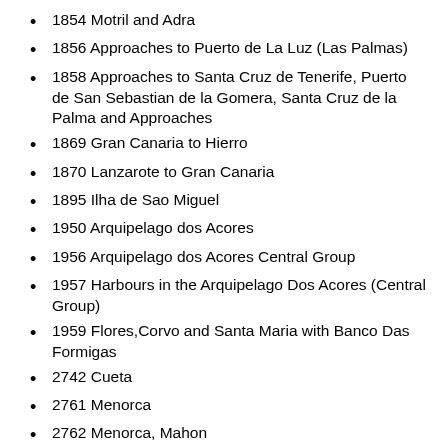1854 Motril and Adra
1856 Approaches to Puerto de La Luz (Las Palmas)
1858 Approaches to Santa Cruz de Tenerife, Puerto de San Sebastian de la Gomera, Santa Cruz de la Palma and Approaches
1869 Gran Canaria to Hierro
1870 Lanzarote to Gran Canaria
1895 Ilha de Sao Miguel
1950 Arquipelago dos Acores
1956 Arquipelago dos Acores Central Group
1957 Harbours in the Arquipelago Dos Acores (Central Group)
1959 Flores,Corvo and Santa Maria with Banco Das Formigas
2742 Cueta
2761 Menorca
2762 Menorca, Mahon